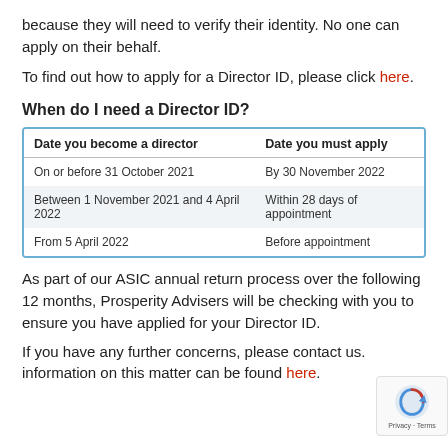because they will need to verify their identity. No one can apply on their behalf.
To find out how to apply for a Director ID, please click here.
When do I need a Director ID?
| Date you become a director | Date you must apply |
| --- | --- |
| On or before 31 October 2021 | By 30 November 2022 |
| Between 1 November 2021 and 4 April 2022 | Within 28 days of appointment |
| From 5 April 2022 | Before appointment |
As part of our ASIC annual return process over the following 12 months, Prosperity Advisers will be checking with you to ensure you have applied for your Director ID.
If you have any further concerns, please contact us. information on this matter can be found here.